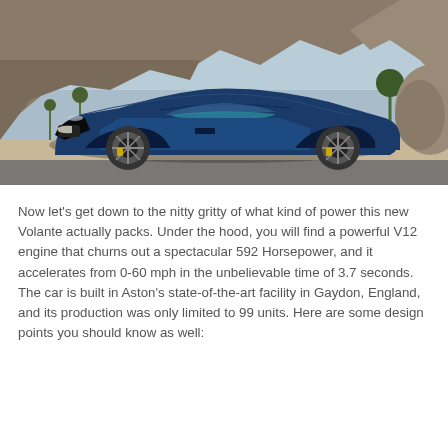[Figure (photo): A blue Aston Martin Vanquish Volante convertible sports car parked on a road in a desert landscape with rocky cliffs and sparse trees in the background.]
Now let's get down to the nitty gritty of what kind of power this new Volante actually packs. Under the hood, you will find a powerful V12 engine that churns out a spectacular 592 Horsepower, and it accelerates from 0-60 mph in the unbelievable time of 3.7 seconds. The car is built in Aston's state-of-the-art facility in Gaydon, England, and its production was only limited to 99 units. Here are some design points you should know as well: